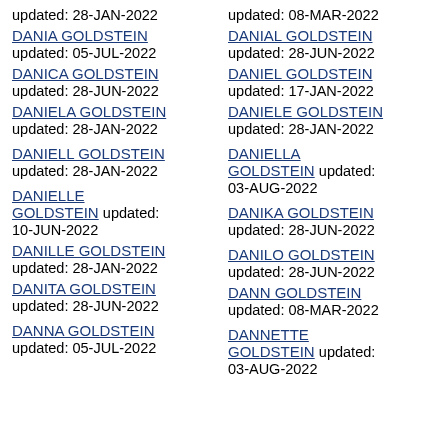updated: 28-JAN-2022
DANIA GOLDSTEIN updated: 05-JUL-2022
DANICA GOLDSTEIN updated: 28-JUN-2022
DANIELA GOLDSTEIN updated: 28-JAN-2022
DANIELL GOLDSTEIN updated: 28-JAN-2022
DANIELLE GOLDSTEIN updated: 10-JUN-2022
DANILLE GOLDSTEIN updated: 28-JAN-2022
DANITA GOLDSTEIN updated: 28-JUN-2022
DANNA GOLDSTEIN updated: 05-JUL-2022
updated: 08-MAR-2022
DANIAL GOLDSTEIN updated: 28-JUN-2022
DANIEL GOLDSTEIN updated: 17-JAN-2022
DANIELE GOLDSTEIN updated: 28-JAN-2022
DANIELLA GOLDSTEIN updated: 03-AUG-2022
DANIKA GOLDSTEIN updated: 28-JUN-2022
DANILO GOLDSTEIN updated: 28-JUN-2022
DANN GOLDSTEIN updated: 08-MAR-2022
DANNETTE GOLDSTEIN updated: 03-AUG-2022